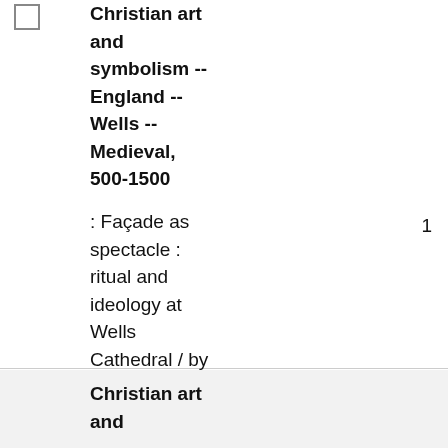Christian art and symbolism -- England -- Wells -- Medieval, 500-1500
: Façade as spectacle : ritual and ideology at Wells Cathedral / by Carolyn Marino Malone
1
Christian art and